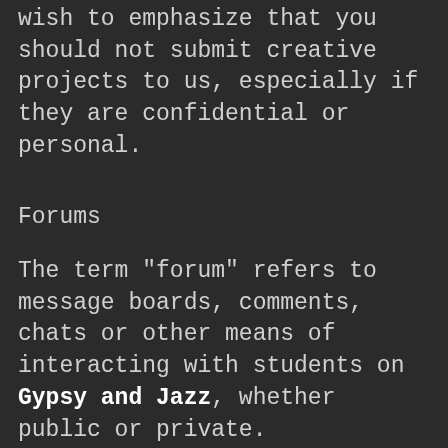wish to emphasize that you should not submit creative projects to us, especially if they are confidential or personal.
Forums
The term "forum" refers to message boards, comments, chats or other means of interacting with students on Gypsy and Jazz, whether public or private. Registration as specified on Gypsy and Jazz is required for participation in any forum. Forbidden posts include any material that is abusive, vulgar, threatening, harassing,